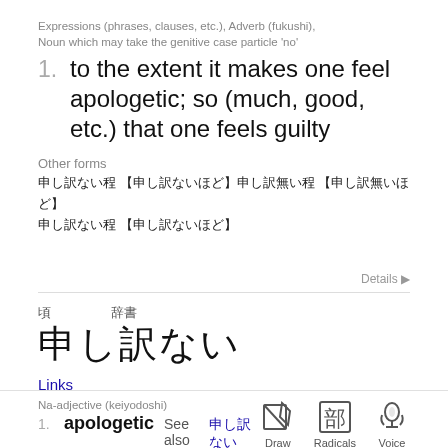Expressions (phrases, clauses, etc.), Adverb (fukushi), Noun which may take the genitive case particle 'no'
1. to the extent it makes one feel apologetic; so (much, good, etc.) that one feels guilty
Other forms
[Japanese characters representing other forms]
Details ▶
[kanji labels: two short kanji labels]
[Japanese kanji/kana characters]
Links
Na-adjective (keiyodoshi)
1. apologetic  See also [Japanese]